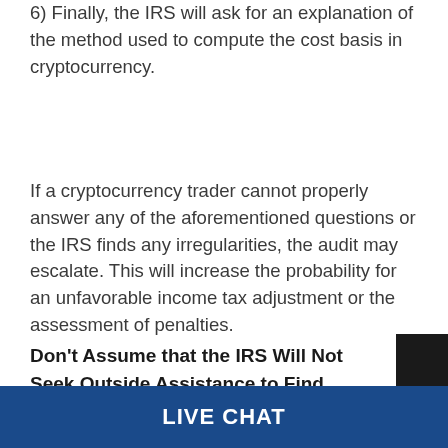6) Finally, the IRS will ask for an explanation of the method used to compute the cost basis in cryptocurrency.
If a cryptocurrency trader cannot properly answer any of the aforementioned questions or the IRS finds any irregularities, the audit may escalate. This will increase the probability for an unfavorable income tax adjustment or the assessment of penalties.
Don’t Assume that the IRS Will Not Seek Outside Assistance to Find Unreported
LIVE CHAT